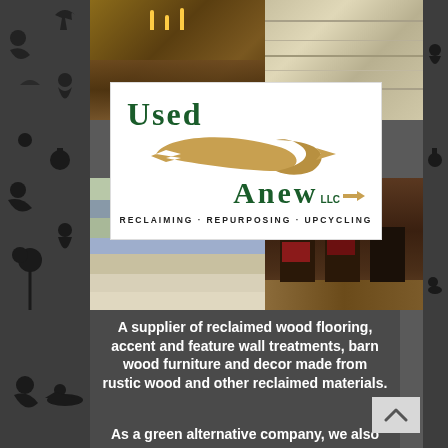[Figure (logo): Used 2 Anew LLC logo with tagline RECLAIMING·REPURPOSING·UPCYCLING, overlaid on a collage of reclaimed wood flooring, furniture and room photos]
A supplier of reclaimed wood flooring, accent and feature wall treatments, barn wood furniture and decor made from rustic wood and other reclaimed materials.
As a green alternative company, we also